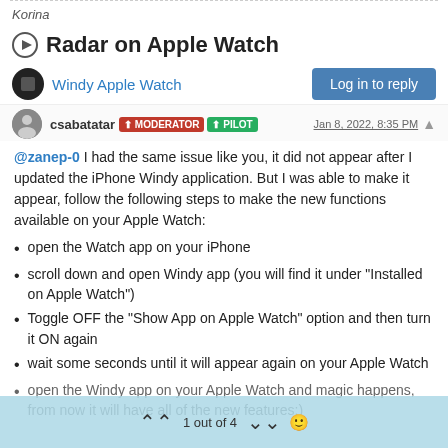Korina
Radar on Apple Watch
Windy Apple Watch
csabatatar MODERATOR PILOT Jan 8, 2022, 8:35 PM
@zanep-0 I had the same issue like you, it did not appear after I updated the iPhone Windy application. But I was able to make it appear, follow the following steps to make the new functions available on your Apple Watch:
open the Watch app on your iPhone
scroll down and open Windy app (you will find it under "Installed on Apple Watch")
Toggle OFF the "Show App on Apple Watch" option and then turn it ON again
wait some seconds until it will appear again on your Apple Watch
open the Windy app on your Apple Watch and magic happens, from now it will have all of the new features:)
1 out of 4